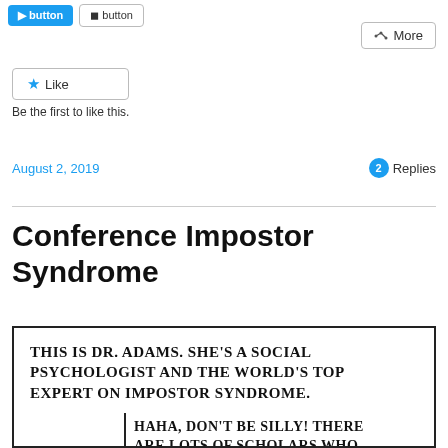[Blog action buttons: Share, More]
Like
Be the first to like this.
August 2, 2019  💬 2 Replies
Conference Impostor Syndrome
[Figure (illustration): Comic strip panel. Text: THIS IS DR. ADAMS. SHE'S A SOCIAL PSYCHOLOGIST AND THE WORLD'S TOP EXPERT ON IMPOSTOR SYNDROME. / HAHA, DON'T BE SILLY! THERE ARE LOTS OF SCHOLARS WHO...]